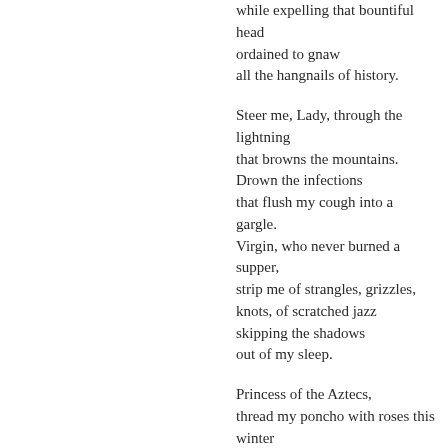while expelling that bountiful head
ordained to gnaw
all the hangnails of history.

Steer me, Lady, through the lightning
that browns the mountains.
Drown the infections
that flush my cough into a gargle.
Virgin, who never burned a supper,
strip me of strangles, grizzles,
knots, of scratched jazz
skipping the shadows
out of my sleep.

Princess of the Aztecs,
thread my poncho with roses this winter
that I might adorn that tomb slab